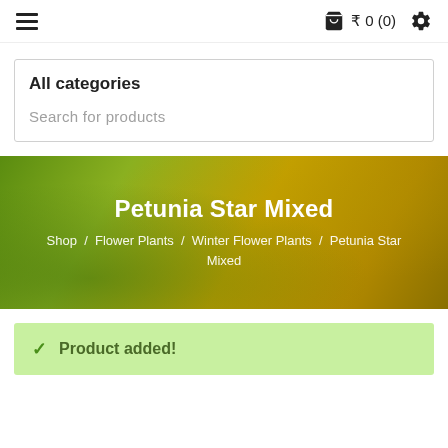≡   ₹ 0 (0)   ⚙
All categories
Search for products
Petunia Star Mixed
Shop / Flower Plants / Winter Flower Plants / Petunia Star Mixed
✓ Product added!